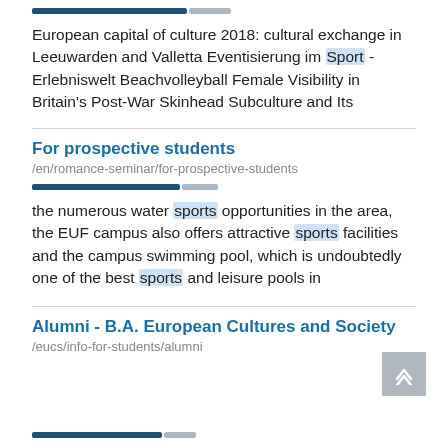[Figure (other): Progress bar with dark blue filled portion and light grey unfilled portion]
European capital of culture 2018: cultural exchange in Leeuwarden and Valletta Eventisierung im Sport - Erlebniswelt Beachvolleyball Female Visibility in Britain's Post-War Skinhead Subculture and Its
For prospective students
/en/romance-seminar/for-prospective-students
[Figure (other): Progress bar with dark blue filled portion and light grey unfilled portion]
the numerous water sports opportunities in the area, the EUF campus also offers attractive sports facilities and the campus swimming pool, which is undoubtedly one of the best sports and leisure pools in
Alumni - B.A. European Cultures and Society
/eucs/info-for-students/alumni
[Figure (other): Back to top button (chevron up arrow on grey background)]
[Figure (other): Progress bar with dark blue filled portion at bottom of page]